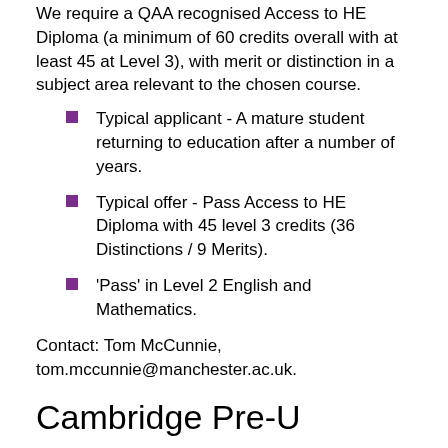We require a QAA recognised Access to HE Diploma (a minimum of 60 credits overall with at least 45 at Level 3), with merit or distinction in a subject area relevant to the chosen course.
Typical applicant - A mature student returning to education after a number of years.
Typical offer - Pass Access to HE Diploma with 45 level 3 credits (36 Distinctions / 9 Merits).
'Pass' in Level 2 English and Mathematics.
Contact: Tom McCunnie, tom.mccunnie@manchester.ac.uk.
Cambridge Pre-U
Applicants are expected to achieve D3, M1, M1 in the Cambridge Pre-U. Applicants can either take three Pre-U qualifications or study them in conjunction with A-level subjects.